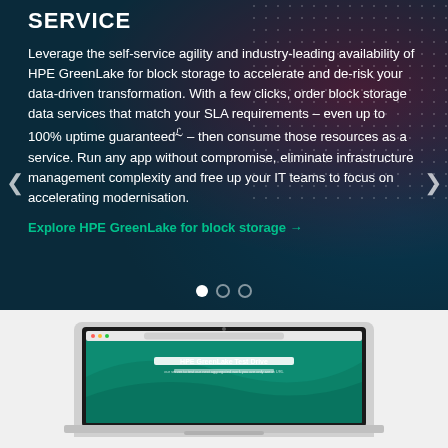SERVICE
Leverage the self-service agility and industry-leading availability of HPE GreenLake for block storage to accelerate and de-risk your data-driven transformation. With a few clicks, order block storage data services that match your SLA requirements – even up to 100% uptime guaranteed℃ – then consume those resources as a service. Run any app without compromise, eliminate infrastructure management complexity and free up your IT teams to focus on accelerating modernisation.
Explore HPE GreenLake for block storage →
[Figure (screenshot): Screenshot of HPE GreenLake Test Drive webpage shown on a laptop]